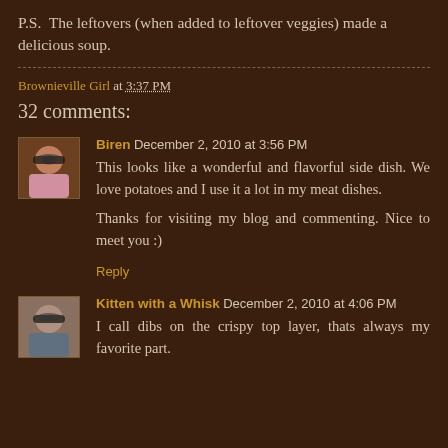P.S.  The leftovers (when added to leftover veggies) made a delicious soup.
Brownieville Girl at 3:37 PM
32 comments:
Biren December 2, 2010 at 3:56 PM
This looks like a wonderful and flavorful side dish. We love potatoes and I use it a lot in my meat dishes.

Thanks for visiting my blog and commenting. Nice to meet you :)
Reply
Kitten with a Whisk December 2, 2010 at 4:06 PM
I call dibs on the crispy top layer, thats always my favorite part.